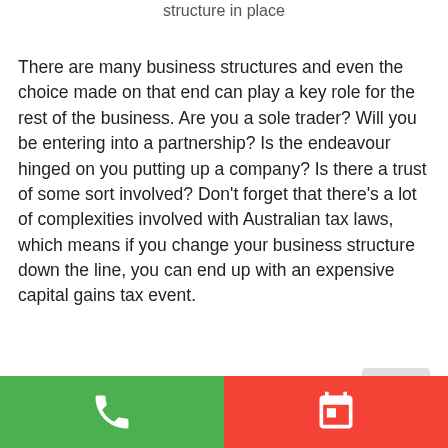structure in place
There are many business structures and even the choice made on that end can play a key role for the rest of the business. Are you a sole trader? Will you be entering into a partnership? Is the endeavour hinged on you putting up a company? Is there a trust of some sort involved? Don't forget that there's a lot of complexities involved with Australian tax laws, which means if you change your business structure down the line, you can end up with an expensive capital gains tax event.
Conclusion
[Figure (other): Footer bar with two buttons: green phone icon on the left, red calendar icon on the right]